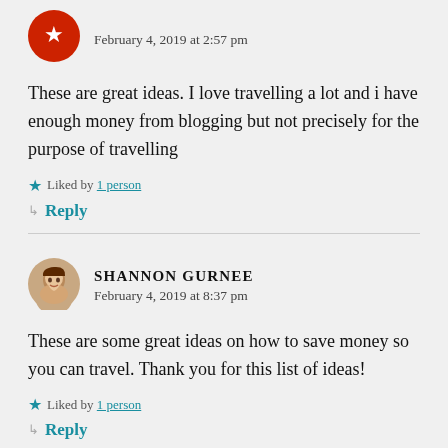[Figure (photo): Red circular avatar with star/icon for first commenter]
February 4, 2019 at 2:57 pm
These are great ideas. I love travelling a lot and i have enough money from blogging but not precisely for the purpose of travelling
Liked by 1 person
Reply
[Figure (photo): Circular avatar photo of Shannon Gurnee, a smiling woman]
SHANNON GURNEE
February 4, 2019 at 8:37 pm
These are some great ideas on how to save money so you can travel. Thank you for this list of ideas!
Liked by 1 person
Reply